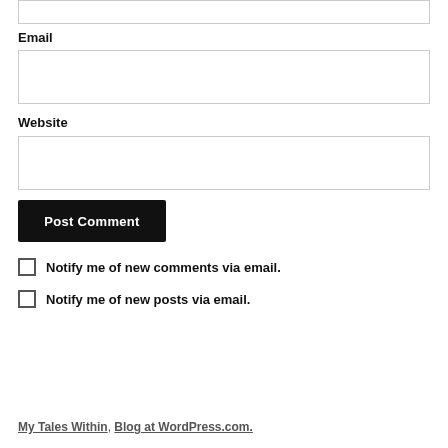Email
Website
Post Comment
Notify me of new comments via email.
Notify me of new posts via email.
My Tales Within, Blog at WordPress.com.